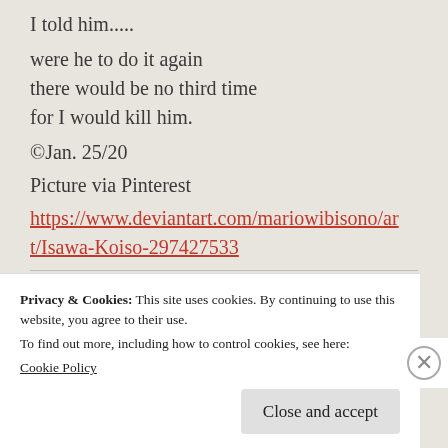I told him.....
were he to do it again
there would be no third time
for I would kill him.
©Jan. 25/20
Picture via Pinterest
https://www.deviantart.com/mariowibisono/art/Isawa-Koiso-297427533
Share this:
Pinterest 1
Privacy & Cookies: This site uses cookies. By continuing to use this website, you agree to their use.
To find out more, including how to control cookies, see here:
Cookie Policy
Close and accept